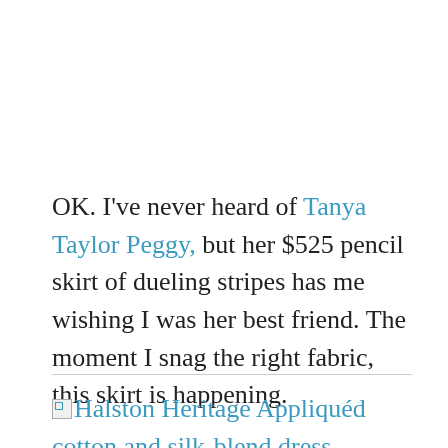OK. I've never heard of Tanya Taylor Peggy, but her $525 pencil skirt of dueling stripes has me wishing I was her best friend. The moment I snag the right fabric, this skirt is happening.
Halston Heritage Appliquéd cotton and silk-blend dress